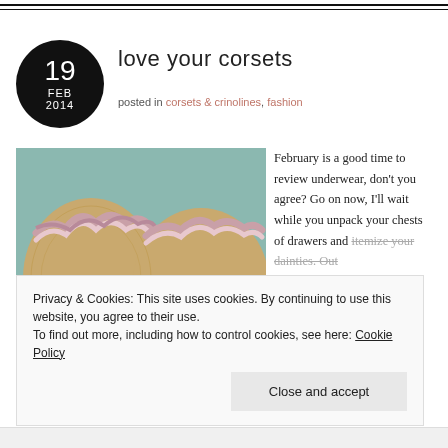love your corsets
posted in corsets & crinolines, fashion
[Figure (photo): Close-up photograph of vintage corsets with lace, ribbon and ruffled satin trim in pink and gold tones]
February is a good time to review underwear, don't you agree? Go on now, I'll wait while you unpack your chests of drawers and itemize your dainties. Out
Privacy & Cookies: This site uses cookies. By continuing to use this website, you agree to their use.
To find out more, including how to control cookies, see here: Cookie Policy
Close and accept